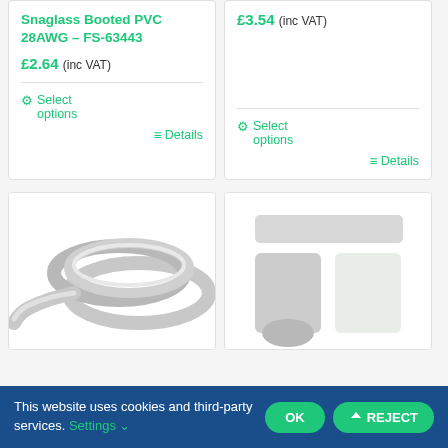Snaglass Booted PVC 28AWG – FS-63443
£2.64 (inc VAT)
Select options
Details
£3.54 (inc VAT)
Select options
Details
[Figure (photo): Coiled grey cable product image]
[Figure (photo): White rectangular pads/strips product image]
This website uses cookies and third-party services. Settings ˅
OK
REJECT